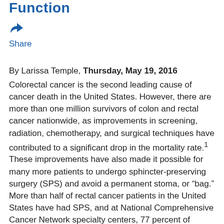Function
[Figure (other): Share icon (forward/reply arrow) and Share link]
By Larissa Temple, Thursday, May 19, 2016
Colorectal cancer is the second leading cause of cancer death in the United States. However, there are more than one million survivors of colon and rectal cancer nationwide, as improvements in screening, radiation, chemotherapy, and surgical techniques have contributed to a significant drop in the mortality rate.1 These improvements have also made it possible for many more patients to undergo sphincter-preserving surgery (SPS) and avoid a permanent stoma, or “bag.” More than half of rectal cancer patients in the United States have had SPS, and at National Comprehensive Cancer Network specialty centers, 77 percent of patients are able to have SPS.2